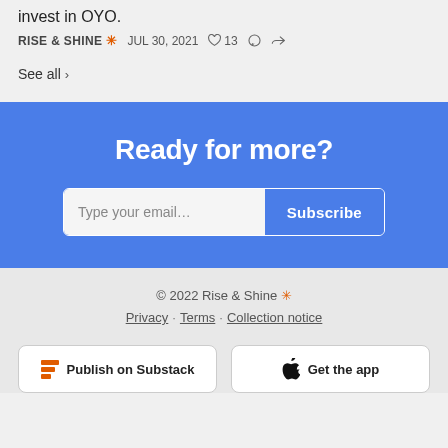invest in OYO.
RISE & SHINE ✳  JUL 30, 2021  ♡ 13
See all ›
Ready for more?
Type your email...  Subscribe
© 2022 Rise & Shine ✳
Privacy · Terms · Collection notice
Publish on Substack
Get the app